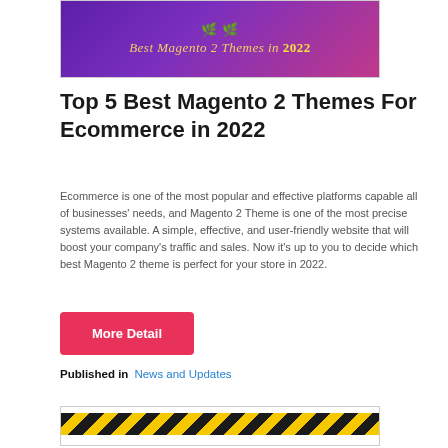[Figure (illustration): Purple/pink gradient banner with golden laurel wreath icon and italic text 'Best Magento 2 Themes in 2022' in gold/yellow color]
Top 5 Best Magento 2 Themes For Ecommerce in 2022
Ecommerce is one of the most popular and effective platforms capable all of businesses' needs, and Magento 2 Theme is one of the most precise systems available. A simple, effective, and user-friendly website that will boost your company's traffic and sales. Now it's up to you to decide which best Magento 2 theme is perfect for your store in 2022.
[Figure (other): Pink/red button with white bold text 'More Detail']
Published in   News and Updates
[Figure (other): Yellow and black diagonal hazard stripe banner at bottom of page]